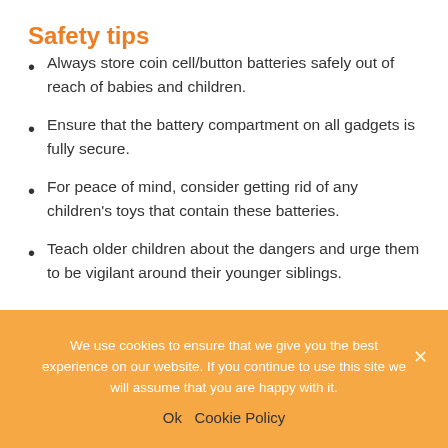Safety tips
Always store coin cell/button batteries safely out of reach of babies and children.
Ensure that the battery compartment on all gadgets is fully secure.
For peace of mind, consider getting rid of any children's toys that contain these batteries.
Teach older children about the dangers and urge them to be vigilant around their younger siblings.
We use cookies to ensure that we give you the best experience on our website. If you continue to use this site we will assume that you are happy with it.
Ok  Cookie Policy